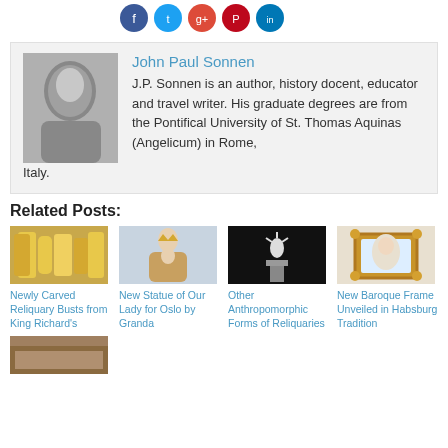[Figure (illustration): Social media sharing icons: Facebook (blue), Twitter (light blue), Google+ (red), Pinterest (red), LinkedIn (blue) as colored circles]
John Paul Sonnen
J.P. Sonnen is an author, history docent, educator and travel writer. His graduate degrees are from the Pontifical University of St. Thomas Aquinas (Angelicum) in Rome, Italy.
Related Posts:
[Figure (photo): Photo of newly carved reliquary busts, golden ornate religious artifacts]
Newly Carved Reliquary Busts from King Richard's
[Figure (photo): Statue of Our Lady holding baby Jesus, with crown]
New Statue of Our Lady for Oslo by Granda
[Figure (photo): Anthropomorphic reliquary on dark background]
Other Anthropomorphic Forms of Reliquaries
[Figure (photo): Baroque frame with Divine Mercy image, ornate gold frame]
New Baroque Frame Unveiled in Habsburg Tradition
[Figure (photo): Partially visible image at bottom of page]